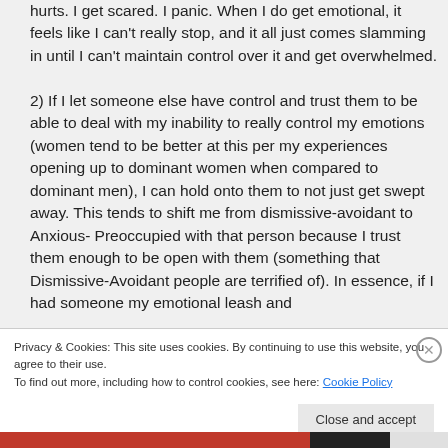hurts. I get scared. I panic. When I do get emotional, it feels like I can't really stop, and it all just comes slamming in until I can't maintain control over it and get overwhelmed.

2) If I let someone else have control and trust them to be able to deal with my inability to really control my emotions (women tend to be better at this per my experiences opening up to dominant women when compared to dominant men), I can hold onto them to not just get swept away. This tends to shift me from dismissive-avoidant to Anxious-Preoccupied with that person because I trust them enough to be open with them (something that Dismissive-Avoidant people are terrified of). In essence, if I had someone my emotional leash and
Privacy & Cookies: This site uses cookies. By continuing to use this website, you agree to their use.
To find out more, including how to control cookies, see here: Cookie Policy
Close and accept